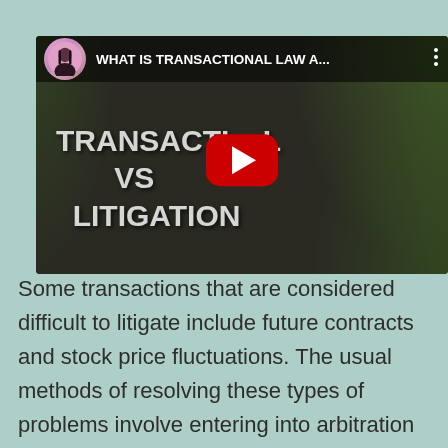[Figure (screenshot): YouTube video thumbnail showing a woman in a black outfit with text overlay 'TRANSACTIONAL VS LITIGATION' and a red play button. Video title bar reads 'WHAT IS TRANSACTIONAL LAW A...' with a circular avatar.]
Some transactions that are considered difficult to litigate include future contracts and stock price fluctuations. The usual methods of resolving these types of problems involve entering into arbitration or mediation between